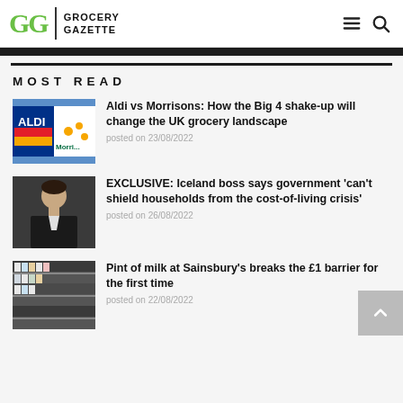Grocery Gazette
MOST READ
[Figure (photo): Aldi and Morrisons store signs side by side]
Aldi vs Morrisons: How the Big 4 shake-up will change the UK grocery landscape
posted on 23/08/2022
[Figure (photo): Portrait of a man in a suit - Iceland boss]
EXCLUSIVE: Iceland boss says government 'can't shield households from the cost-of-living crisis'
posted on 26/08/2022
[Figure (photo): Supermarket aisle with dairy products]
Pint of milk at Sainsbury's breaks the £1 barrier for the first time
posted on 22/08/2022